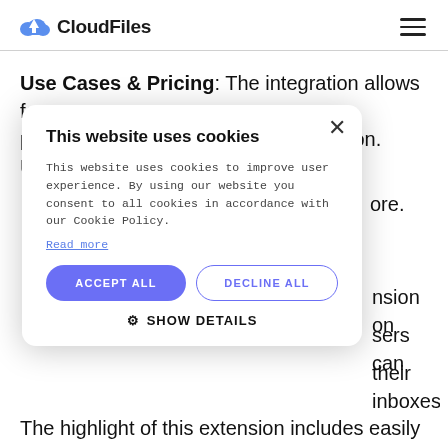[Figure (logo): CloudFiles logo with blue cloud upload icon and bold 'CloudFiles' text]
Use Cases & Pricing: The integration allows for proper business customer segmentation. Users can … ore.
[Figure (screenshot): Cookie consent modal dialog with title 'This website uses cookies', body text, Read more link, ACCEPT ALL and DECLINE ALL buttons, and SHOW DETAILS option with gear icon]
…nsion on …sers can …their inboxes.
The highlight of this extension includes easily